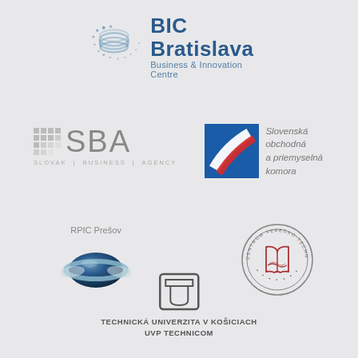[Figure (logo): BIC Bratislava – Business & Innovation Centre logo with spiral/coil graphic and blue text]
[Figure (logo): SBA – Slovak Business Agency logo with grid of squares and grey letters]
[Figure (logo): Slovenská obchodná a priemyselná komora logo with blue/red 'S' emblem and grey text]
[Figure (logo): RPIC Prešov logo with globe graphic and text above]
[Figure (logo): Centrum vedecko-technických informácií SR circular stamp logo]
[Figure (logo): Technická univerzita v Košiciach UVP TECHNICOM logo with stylized T-U emblem and text below]